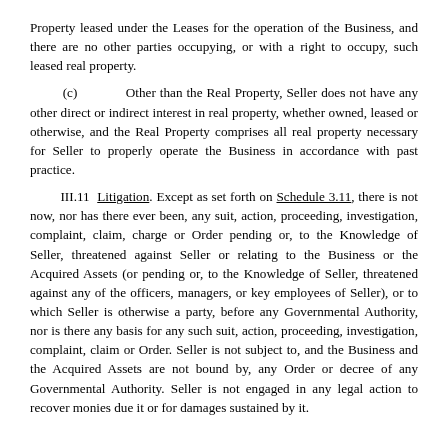Property leased under the Leases for the operation of the Business, and there are no other parties occupying, or with a right to occupy, such leased real property.
(c) Other than the Real Property, Seller does not have any other direct or indirect interest in real property, whether owned, leased or otherwise, and the Real Property comprises all real property necessary for Seller to properly operate the Business in accordance with past practice.
III.11 Litigation. Except as set forth on Schedule 3.11, there is not now, nor has there ever been, any suit, action, proceeding, investigation, complaint, claim, charge or Order pending or, to the Knowledge of Seller, threatened against Seller or relating to the Business or the Acquired Assets (or pending or, to the Knowledge of Seller, threatened against any of the officers, managers, or key employees of Seller), or to which Seller is otherwise a party, before any Governmental Authority, nor is there any basis for any such suit, action, proceeding, investigation, complaint, claim or Order. Seller is not subject to, and the Business and the Acquired Assets are not bound by, any Order or decree of any Governmental Authority. Seller is not engaged in any legal action to recover monies due it or for damages sustained by it.